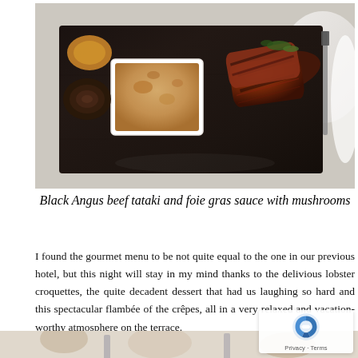[Figure (photo): A plated dish on a dark slate board: grilled Black Angus beef tataki slices with foie gras sauce in a white bowl, garnished with herbs, accompanied by roasted vegetables. Table setting with knife and white plates visible.]
Black Angus beef tataki and foie gras sauce with mushrooms
I found the gourmet menu to be not quite equal to the one in our previous hotel, but this night will stay in my mind thanks to the delivious lobster croquettes, the quite decadent dessert that had us laughing so hard and this spectacular flambée of the crêpes, all in a very relaxed and vacation-worthy atmosphere on the terrace.
[Figure (photo): Bottom portion of another food photograph, partially visible, showing a table setting with glasses and food items in warm tones.]